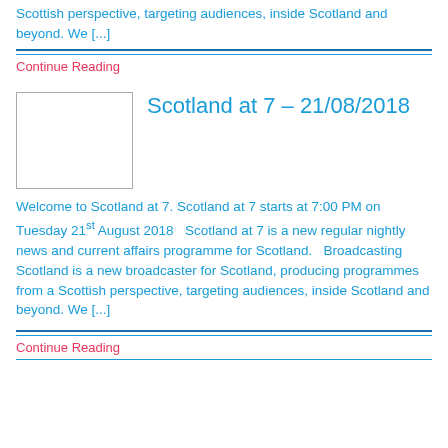Scottish perspective, targeting audiences, inside Scotland and beyond. We [...]
Continue Reading
Scotland at 7 – 21/08/2018
Welcome to Scotland at 7. Scotland at 7 starts at 7:00 PM on Tuesday 21st August 2018   Scotland at 7 is a new regular nightly news and current affairs programme for Scotland.   Broadcasting Scotland is a new broadcaster for Scotland, producing programmes from a Scottish perspective, targeting audiences, inside Scotland and beyond. We [...]
Continue Reading